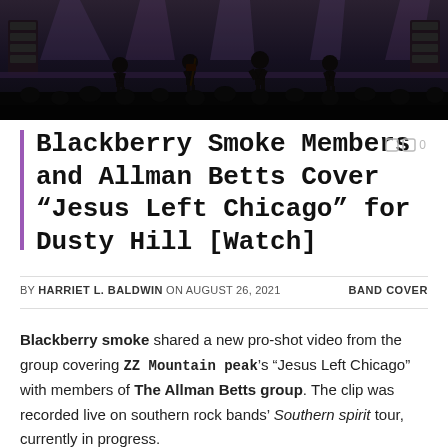[Figure (photo): Concert stage photo showing silhouettes of performers on stage with dark lighting and audience in foreground]
Blackberry Smoke Members and Allman Betts Cover “Jesus Left Chicago” for Dusty Hill [Watch]
BY HARRIET L. BALDWIN ON AUGUST 26, 2021   BAND COVER
Blackberry smoke shared a new pro-shot video from the group covering ZZ Mountain peak’s “Jesus Left Chicago” with members of The Allman Betts group. The clip was recorded live on southern rock bands’ Southern spirit tour, currently in progress.